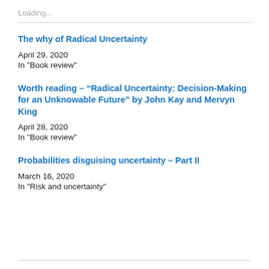Loading...
The why of Radical Uncertainty
April 29, 2020
In "Book review"
Worth reading – “Radical Uncertainty: Decision-Making for an Unknowable Future” by John Kay and Mervyn King
April 28, 2020
In "Book review"
Probabilities disguising uncertainty – Part II
March 16, 2020
In "Risk and uncertainty"